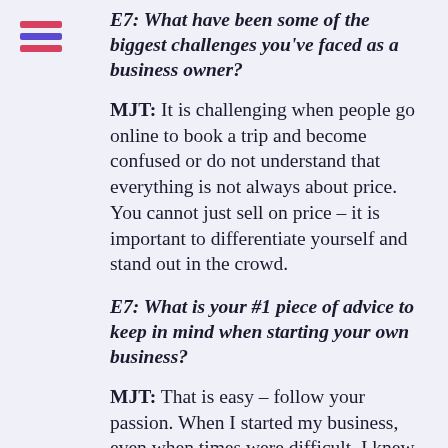[Figure (logo): Hamburger menu icon with three horizontal lines — top line red/pink, middle line blue/purple, bottom line red/pink — positioned top-left]
E7: What have been some of the biggest challenges you've faced as a business owner?
MJT: It is challenging when people go online to book a trip and become confused or do not understand that everything is not always about price. You cannot just sell on price – it is important to differentiate yourself and stand out in the crowd.
E7: What is your #1 piece of advice to keep in mind when starting your own business?
MJT: That is easy – follow your passion. When I started my business, even when times were difficult, I knew that it was what I was meant to be doing. As well, treating both your employees and clients as you would want to be treated is